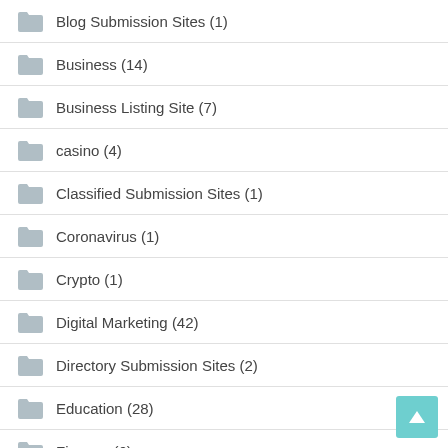Blog Submission Sites (1)
Business (14)
Business Listing Site (7)
casino (4)
Classified Submission Sites (1)
Coronavirus (1)
Crypto (1)
Digital Marketing (42)
Directory Submission Sites (2)
Education (28)
Finance (6)
Food (1)